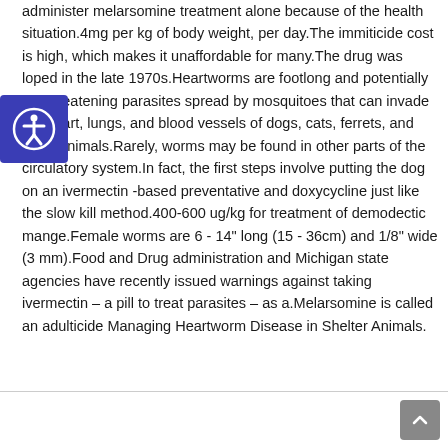administer melarsomine treatment alone because of the health situation.4mg per kg of body weight, per day.The immiticide cost is high, which makes it unaffordable for many.The drug was loped in the late 1970s.Heartworms are footlong and potentially life-threatening parasites spread by mosquitoes that can invade the heart, lungs, and blood vessels of dogs, cats, ferrets, and other animals.Rarely, worms may be found in other parts of the circulatory system.In fact, the first steps involve putting the dog on an ivermectin -based preventative and doxycycline just like the slow kill method.400-600 ug/kg for treatment of demodectic mange.Female worms are 6 - 14" long (15 - 36cm) and 1/8" wide (3 mm).Food and Drug administration and Michigan state agencies have recently issued warnings against taking ivermectin – a pill to treat parasites – as a.Melarsomine is called an adulticide Managing Heartworm Disease in Shelter Animals.